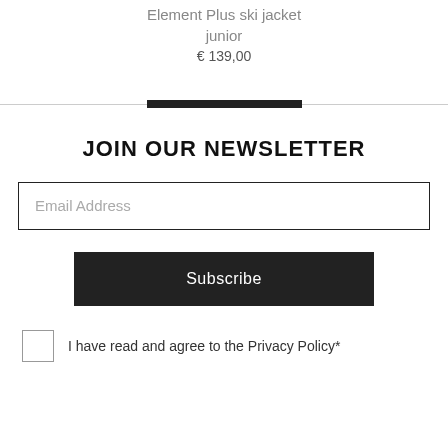Element Plus ski jacket junior
€ 139,00
JOIN OUR NEWSLETTER
Email Address
Subscribe
I have read and agree to the Privacy Policy*